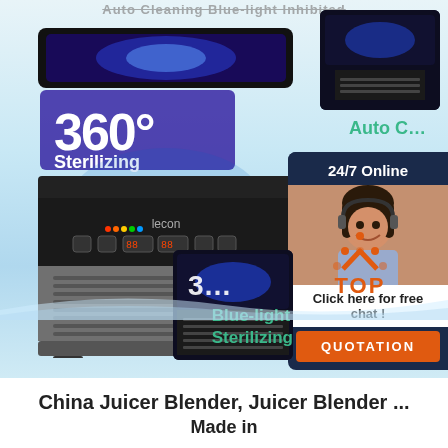[Figure (photo): Product promotional image of an ice maker machine (brand: lecon) with blue-light sterilizing feature, showing 360 degree sterilizing badge, multiple product angles, customer service chat widget with '24/7 Online' header, 'Auto Cleaning' label, 'Blue-light Sterilizing' label, orange QUOTATION button, and TOP badge icon. Background has water splash effects.]
China Juicer Blender, Juicer Blender ...
Made in